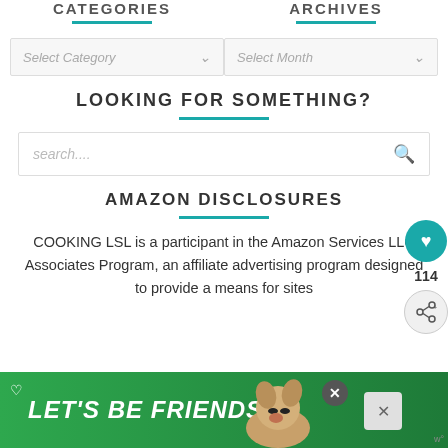CATEGORIES
ARCHIVES
Select Category
Select Month
LOOKING FOR SOMETHING?
search....
AMAZON DISCLOSURES
COOKING LSL is a participant in the Amazon Services LLC Associates Program, an affiliate advertising program designed to provide a means for sites...
114
[Figure (screenshot): Bottom banner: green background with LET'S BE FRIENDS text, husky dog image, close buttons]